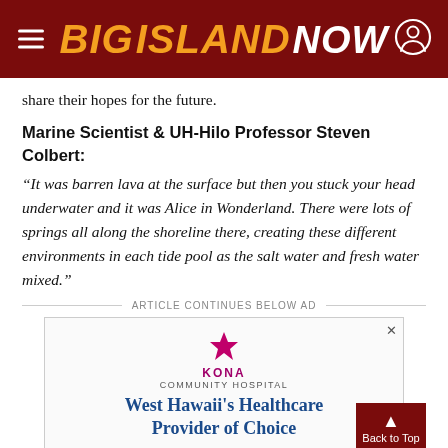BIG ISLAND NOW
share their hopes for the future.
Marine Scientist & UH-Hilo Professor Steven Colbert:
“It was barren lava at the surface but then you stuck your head underwater and it was Alice in Wonderland. There were lots of springs all along the shoreline there, creating these different environments in each tide pool as the salt water and fresh water mixed.”
ARTICLE CONTINUES BELOW AD
[Figure (advertisement): Kona Community Hospital advertisement: West Hawaii’s Healthcare Provider of Choice]